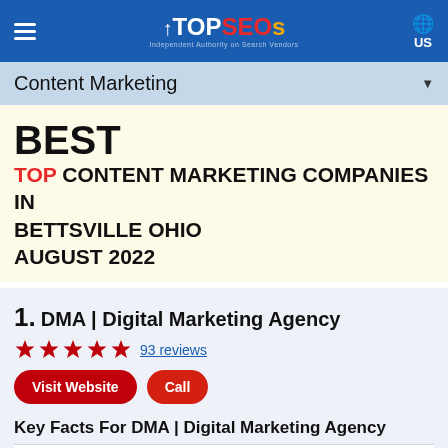TOPSEOs — Independent Authority on Search Vendors — US
Content Marketing
BEST
TOP CONTENT MARKETING COMPANIES IN BETTSVILLE OHIO AUGUST 2022
1. DMA | Digital Marketing Agency — 93 reviews — Visit Website — Call
Key Facts For DMA | Digital Marketing Agency
|  |  |
| --- | --- |
| Location: | Bettsville Division |
| Services: | PPC, SEO, Social Media Marketing, Reputation Management |